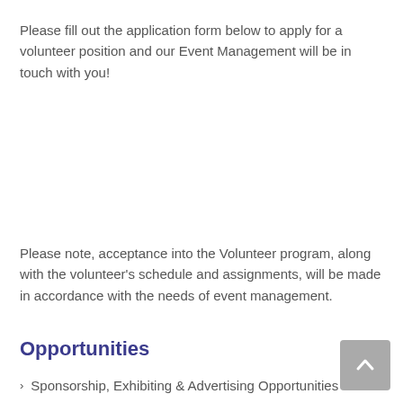Please fill out the application form below to apply for a volunteer position and our Event Management will be in touch with you!
Please note, acceptance into the Volunteer program, along with the volunteer's schedule and assignments, will be made in accordance with the needs of event management.
Opportunities
Sponsorship, Exhibiting & Advertising Opportunities